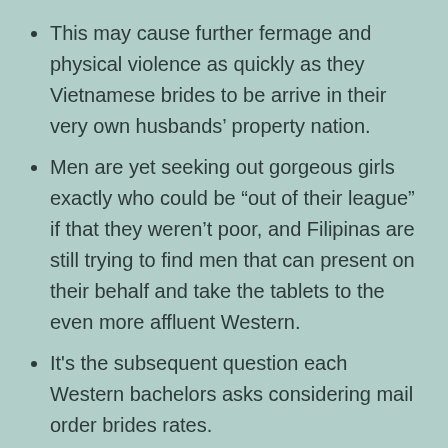This may cause further fermage and physical violence as quickly as they Vietnamese brides to be arrive in their very own husbands’ property nation.
Men are yet seeking out gorgeous girls exactly who could be “out of their league” if that they weren’t poor, and Filipinas are still trying to find men that can present on their behalf and take the tablets to the even more affluent Western.
It's the subsequent question each Western bachelors asks considering mail order brides rates.